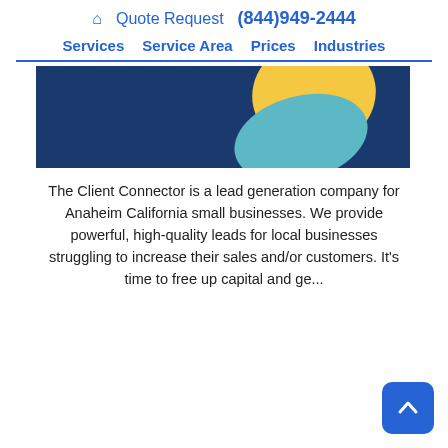🏠 Quote Request (844)949-2444 | Services | Service Area | Prices | Industries
[Figure (illustration): Dark blue banner image with abstract shapes: a yellow blob and a teal/blue blob overlapping, on a dark navy blue background.]
The Client Connector is a lead generation company for Anaheim California small businesses. We provide powerful, high-quality leads for local businesses struggling to increase their sales and/or customers. It's time to free up capital and ge...